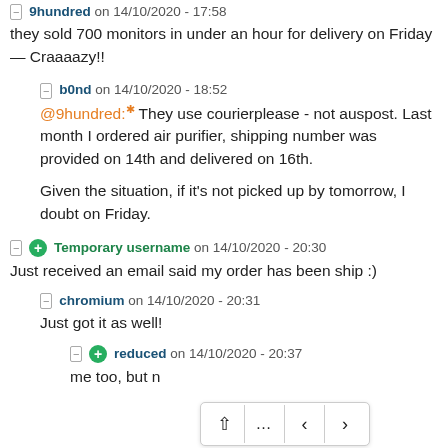⊟ 9hundred on 14/10/2020 - 17:58
they sold 700 monitors in under an hour for delivery on Friday— Craaaazy!!
⊟ b0nd on 14/10/2020 - 18:52
@9hundred:* They use courierplease - not auspost. Last month I ordered air purifier, shipping number was provided on 14th and delivered on 16th.

Given the situation, if it's not picked up by tomorrow, I doubt on Friday.
⊟ + Temporary username on 14/10/2020 - 20:30
Just received an email said my order has been ship :)
⊟ chromium on 14/10/2020 - 20:31
Just got it as well!
⊟ + reduced on 14/10/2020 - 20:37
me too, but n…